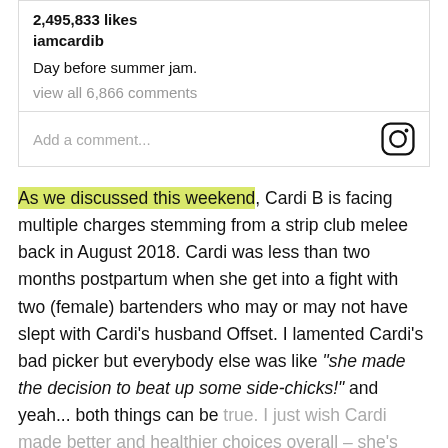2,495,833 likes
iamcardib
Day before summer jam.
view all 6,866 comments
Add a comment...
As we discussed this weekend, Cardi B is facing multiple charges stemming from a strip club melee back in August 2018. Cardi was less than two months postpartum when she get into a fight with two (female) bartenders who may or may not have slept with Cardi's husband Offset. I lamented Cardi's bad picker but everybody else was like “she made the decision to beat up some side-chicks!” and yeah... both things can be true. I just wish Cardi made better and healthier choices overall – she's one of the